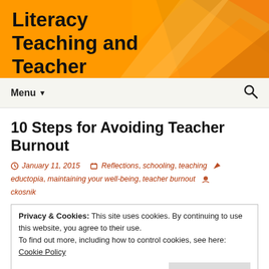Literacy Teaching and Teacher Education
10 Steps for Avoiding Teacher Burnout
January 11, 2015   Reflections, schooling, teaching   eductopia, maintaining your well-being, teacher burnout   ckosnik
Privacy & Cookies: This site uses cookies. By continuing to use this website, you agree to their use. To find out more, including how to control cookies, see here: Cookie Policy
Close and accept
fit...all. The article by Bamberger is from the